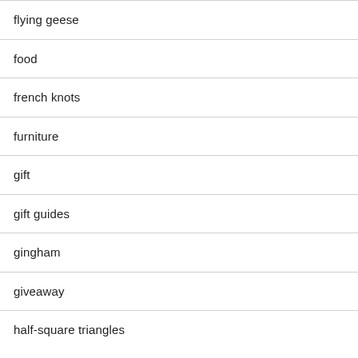flying geese
food
french knots
furniture
gift
gift guides
gingham
giveaway
half-square triangles